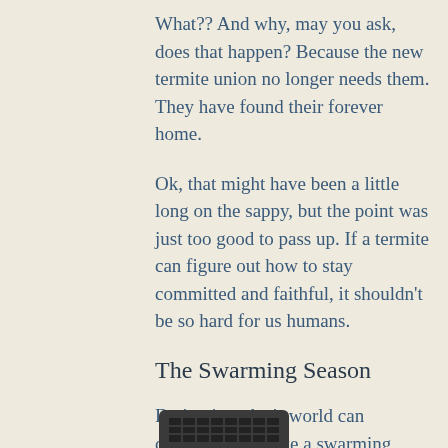What?? And why, may you ask, does that happen? Because the new termite union no longer needs them. They have found their forever home.
Ok, that might have been a little long on the sappy, but the point was just too good to pass up. If a termite can figure out how to stay committed and faithful, it shouldn't be so hard for us humans.
The Swarming Season
Dating in today's world can certainly seem like a swarming season. There is a whirlwind of dating apps, texts, online chats, et forth. There is